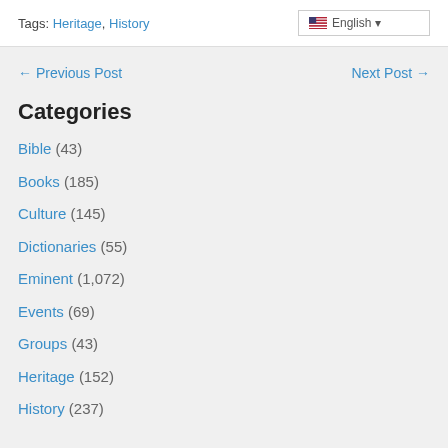Tags: Heritage, History
← Previous Post   Next Post →
Categories
Bible (43)
Books (185)
Culture (145)
Dictionaries (55)
Eminent (1,072)
Events (69)
Groups (43)
Heritage (152)
History (237)